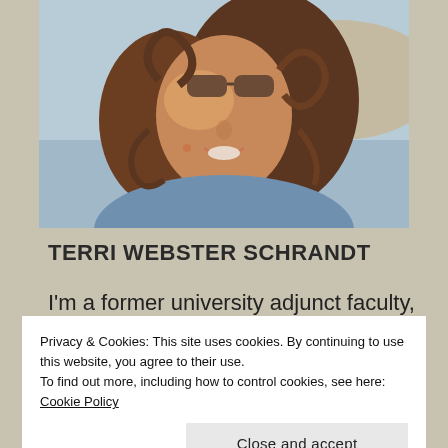[Figure (photo): Portrait photo of a woman with curly auburn hair and sunglasses, wearing a blue top, smiling outdoors near water.]
TERRI WEBSTER SCHRANDT
I'm a former university adjunct faculty,
Privacy & Cookies: This site uses cookies. By continuing to use this website, you agree to their use.
To find out more, including how to control cookies, see here: Cookie Policy
includes fitness, photography, and fun.